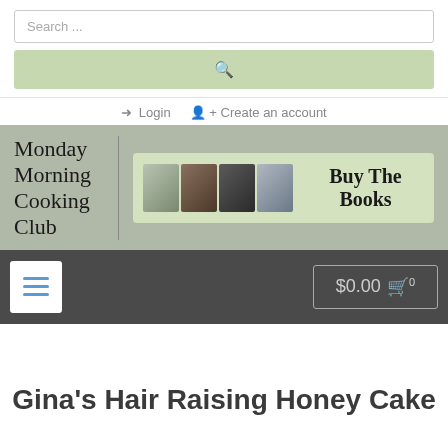Search ...
[Figure (screenshot): Green search button with magnifying glass icon]
Login   Create an account
[Figure (logo): Monday Morning Cooking Club logo with book images and Buy The Books banner]
[Figure (screenshot): Dark navigation bar with hamburger menu button and $0.00 cart button]
Gina’s Hair Raising Honey Cake